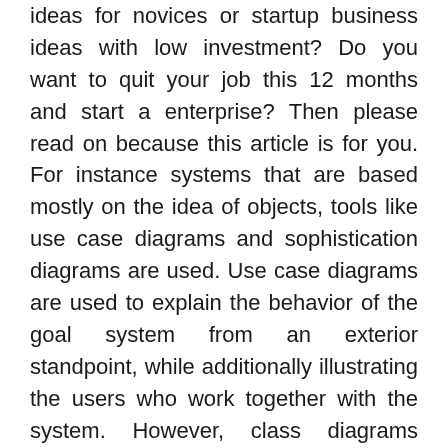ideas for novices or startup business ideas with low investment? Do you want to quit your job this 12 months and start a enterprise? Then please read on because this article is for you. For instance systems that are based mostly on the idea of objects, tools like use case diagrams and sophistication diagrams are used. Use case diagrams are used to explain the behavior of the goal system from an exterior standpoint, while additionally illustrating the users who work together with the system. However, class diagrams provide an summary of the target system by describing the objects and classes, and their relationships, contained in the system.
Apple's Macintosh Transportable meets with little success in the marketplace and leads to a whole